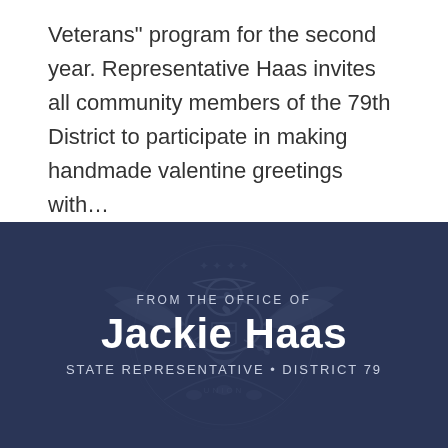Veterans” program for the second year. Representative Haas invites all community members of the 79th District to participate in making handmade valentine greetings with…
Read More →
[Figure (infographic): Dark navy blue banner with Illinois state seal watermark in background. Text reads: FROM THE OFFICE OF Jackie Haas STATE REPRESENTATIVE • DISTRICT 79]